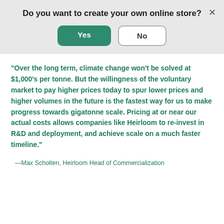Do you want to create your own online store?
Yes | No (dialog buttons)
"Over the long term, climate change won't be solved at $1,000's per tonne. But the willingness of the voluntary market to pay higher prices today to spur lower prices and higher volumes in the future is the fastest way for us to make progress towards gigatonne scale. Pricing at or near our actual costs allows companies like Heirloom to re-invest in R&D and deployment, and achieve scale on a much faster timeline."
—Max Scholten, Heirloom Head of Commercialization